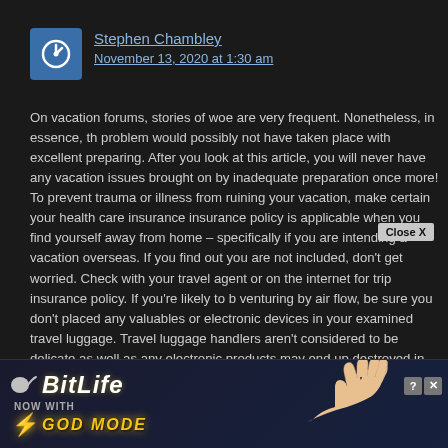Stephen Chambley
November 13, 2020 at 1:30 am
On vacation forums, stories of woe are very frequent. Nonetheless, in essence, the problem would possibly not have taken place with excellent preparing. After you look at this article, you will never have any vacation issues brought on by inadequate preparation once more! To prevent trauma or illness from ruining your vacation, make certain your health care insurance insurance policy is applicable when you find yourself away from home – specifically if you are intending a vacation overseas. If you find out you are not included, don't get worried. Check with your travel agent or on the internet for trip insurance policy. If you're likely to be venturing by air flow, be sure you don't placed any valuables or electronic devices in your examined travel luggage. Travel luggage handlers aren't considered to be delicate as well as any electronic products may end up destroyed in the course of move. Airlines will also be known to shed luggage so you don't wish to take a chance of shedding something beneficial. When traveling, generally expect to have things stolen. Make improve photocopies of all of your important reports. You may even post electronic tests of those files for easy accessibility while traveling. The regional United states embassy can help you in getting in contact with all those in your own home who can wire you urgent cash or aid in swapping your passport, although not significantly in addition. If you are intending a getaway overseas, it is very important ensure you receive the necessary shots ahead. When you find yourself in the location, you may be exposed to any vaccination this could make your ur journey, or even worse, there are
[Figure (screenshot): BitLife advertisement banner with 'NOW WITH GOD MODE' text and lightning bolt, with a hand pointing from the right side, and close/help buttons in the top right corner]